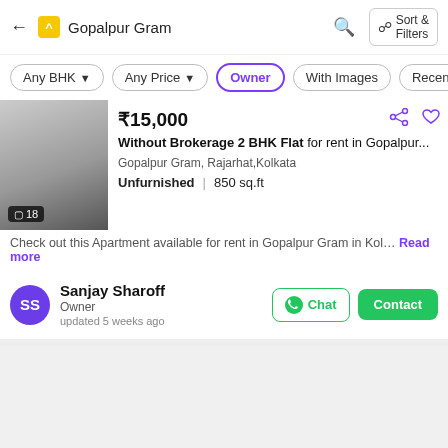Gopalpur Gram
Any BHK
Any Price
Owner
With Images
Recent First
₹15,000
Without Brokerage 2 BHK Flat for rent in Gopalpur...
Gopalpur Gram, Rajarhat,Kolkata
Unfurnished | 850 sq.ft
Check out this Apartment available for rent in Gopalpur Gram in Kol… Read more
Sanjay Sharoff
Owner
updated 5 weeks ago